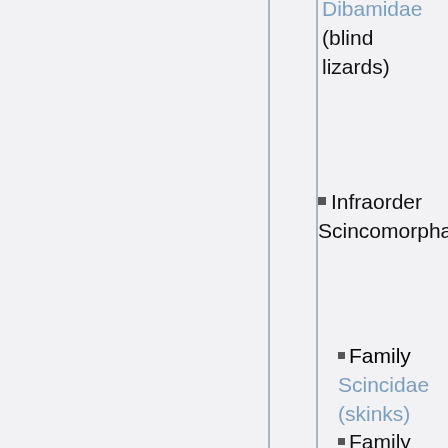Dibamidae (blind lizards)
Infraorder Scincomorpha
Family Scincidae (skinks)
Family Lacertidae (wall lizards or true lizards)
Family (partially visible at bottom)